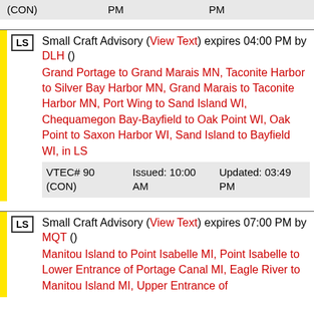|  | Issued | Updated |
| --- | --- | --- |
| VTEC# (CON) | PM | PM |
Small Craft Advisory (View Text) expires 04:00 PM by DLH ()
Grand Portage to Grand Marais MN, Taconite Harbor to Silver Bay Harbor MN, Grand Marais to Taconite Harbor MN, Port Wing to Sand Island WI, Chequamegon Bay-Bayfield to Oak Point WI, Oak Point to Saxon Harbor WI, Sand Island to Bayfield WI, in LS
| VTEC# | Issued | Updated |
| --- | --- | --- |
| VTEC# 90 (CON) | Issued: 10:00 AM | Updated: 03:49 PM |
Small Craft Advisory (View Text) expires 07:00 PM by MQT ()
Manitou Island to Point Isabelle MI, Point Isabelle to Lower Entrance of Portage Canal MI, Eagle River to Manitou Island MI, Upper Entrance of